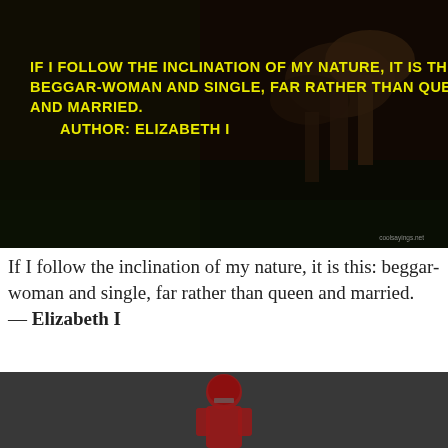[Figure (photo): Dark photograph of mushrooms growing on moss with overlaid yellow quote text. Quote reads: IF I FOLLOW THE INCLINATION OF MY NATURE, IT IS THIS: BEGGAR-WOMAN AND SINGLE, FAR RATHER THAN QUEEN AND MARRIED. AUTHOR: ELIZABETH I. Watermark: coolsayings.net]
If I follow the inclination of my nature, it is this: beggar-woman and single, far rather than queen and married.
— Elizabeth I
[Figure (photo): Dark gray photograph showing a person in a red American football uniform and helmet, partially visible at bottom of page.]